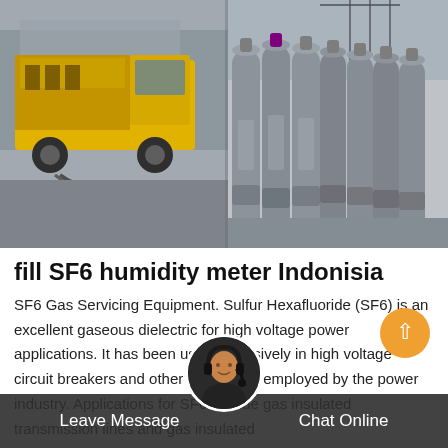[Figure (photo): Composite photo: left side shows a yellow truck/utility vehicle; right side shows a row of gray SF6 gas cylinders/tanks lined up outdoors at an industrial site.]
fill SF6 humidity meter Indonisia
SF6 Gas Servicing Equipment. Sulfur Hexafluoride (SF6) is an excellent gaseous dielectric for high voltage power applications. It has been used extensively in high voltage circuit breakers and other switchgear employed by the power industry. Applications for SF6 include gas insulated transmission lines and gas insulated
Leave Message   Chat Online